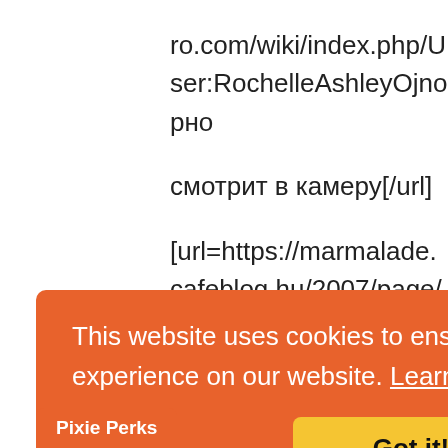ro.com/wiki/index.php/User:RochelleAshleyOjnорно смотрит в камеру[/url] [url=https://marmalade.cafeblog.hu/2007/page/5/?sharebyemailCimzett=ponosovao85%40gmail.com&shar admin-easybuilder.com%2Fblog%2Fpost%2Funique-ui%5D%D1%81%D0%BA%D0%B0%D1%87%D0%B0%D pars-studiorum%2F%23comment-200047%5D%D0%BF%D0%BE%D1%80%D0%BD%D09 world-2%2F%23comment-106%5D%D1%8D%D1%80%D0%BE%D1%82%D0%B8 world%2F%23comment-
[Figure (screenshot): Cookie consent banner with orange background. Text reads: 'This website uses cookies to ensure you get the best experience on our website. Learn more' with a yellow 'Got it!' button.]
88%D0
о
0117-18.html#post2304206]голые